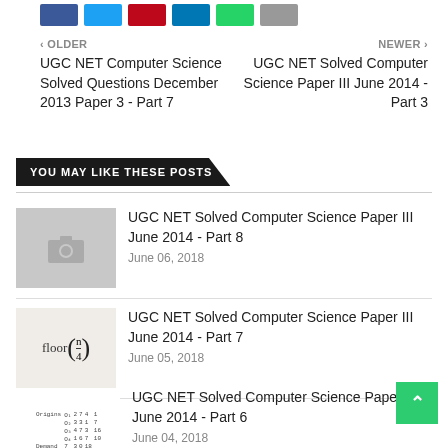[Figure (other): Social sharing buttons: Facebook (blue), Twitter (light blue), Pinterest (red), LinkedIn (dark blue), WhatsApp (green), Share (gray)]
< OLDER
UGC NET Computer Science Solved Questions December 2013 Paper 3 - Part 7
NEWER >
UGC NET Solved Computer Science Paper III June 2014 - Part 3
YOU MAY LIKE THESE POSTS
[Figure (photo): Gray placeholder thumbnail with camera icon]
UGC NET Solved Computer Science Paper III June 2014 - Part 8
June 06, 2018
[Figure (math-figure): Floor function with n/4 expression: floor(n/4)]
UGC NET Solved Computer Science Paper III June 2014 - Part 7
June 05, 2018
[Figure (table-as-image): Small matrix/table thumbnail showing Origins and Demand data]
UGC NET Solved Computer Science Paper III June 2014 - Part 6
June 04, 2018